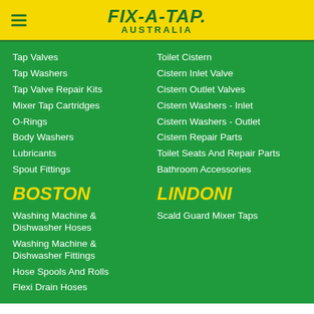FIX-A-TAP. AUSTRALIA
Tap Valves
Tap Washers
Tap Valve Repair Kits
Mixer Tap Cartridges
O-Rings
Body Washers
Lubricants
Spout Fittings
Toilet Cistern
Cistern Inlet Valve
Cistern Outlet Valves
Cistern Washers - Inlet
Cistern Washers - Outlet
Cistern Repair Parts
Toilet Seats And Repair Parts
Bathroom Accessories
BOSTON
LINDONI
Washing Machine & Dishwasher Hoses
Washing Machine & Dishwasher Fittings
Hose Spools And Rolls
Flexi Drain Hoses
Scald Guard Mixer Taps